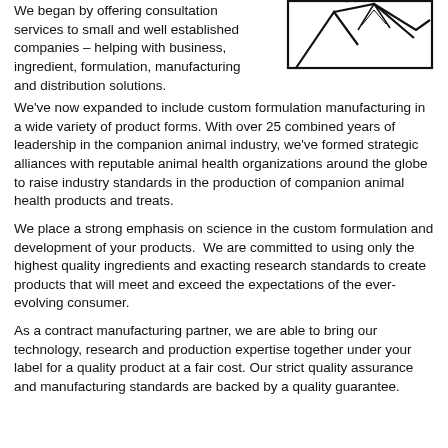We began by offering consultation services to small and well established companies – helping with business, ingredient, formulation, manufacturing and distribution solutions.
[Figure (logo): Mountain range logo outline in black and white, triangular peaks style]
We've now expanded to include custom formulation manufacturing in a wide variety of product forms. With over 25 combined years of leadership in the companion animal industry, we've formed strategic alliances with reputable animal health organizations around the globe to raise industry standards in the production of companion animal health products and treats.
We place a strong emphasis on science in the custom formulation and development of your products.  We are committed to using only the highest quality ingredients and exacting research standards to create products that will meet and exceed the expectations of the ever-evolving consumer.
As a contract manufacturing partner, we are able to bring our technology, research and production expertise together under your label for a quality product at a fair cost. Our strict quality assurance and manufacturing standards are backed by a quality guarantee.